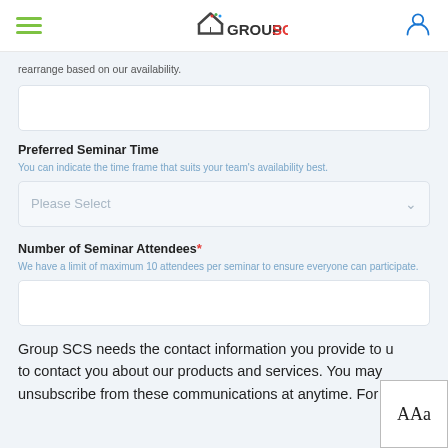Group SCS
rearrange based on our availability.
Preferred Seminar Time
You can indicate the time frame that suits your team's availability best.
Number of Seminar Attendees*
We have a limit of maximum 10 attendees per seminar to ensure everyone can participate.
Group SCS needs the contact information you provide to us to contact you about our products and services. You may unsubscribe from these communications at anytime. For